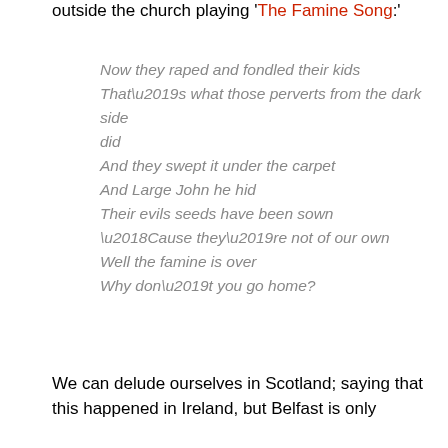outside the church playing 'The Famine Song:'
Now they raped and fondled their kids
That’s what those perverts from the dark side did
And they swept it under the carpet
And Large John he hid
Their evils seeds have been sown
‘Cause they’re not of our own
Well the famine is over
Why don’t you go home?
We can delude ourselves in Scotland; saying that this happened in Ireland, but Belfast is only